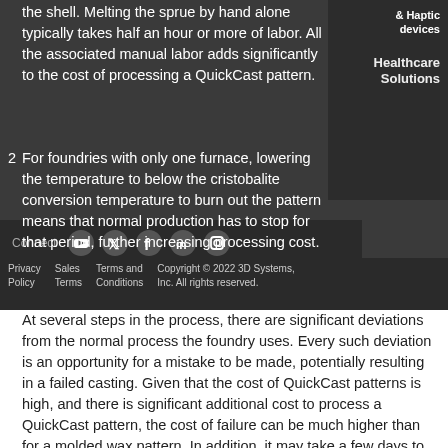the shell. Melting the sprue by hand alone typically takes half an hour or more of labor. All the associated manual labor adds significantly to the cost of processing a QuickCast pattern.
For foundries with only one furnace, lowering the temperature to below the cristobalite conversion temperature to burn out the pattern means that normal production has to stop for that period, further increasing processing cost.
Privacy Policy   Sales Terms   Terms and Conditions   Copyright © 2022 3D Systems, Inc. All rights reserved.
At several steps in the process, there are significant deviations from the normal process the foundry uses. Every such deviation is an opportunity for a mistake to be made, potentially resulting in a failed casting. Given that the cost of QuickCast patterns is high, and there is significant additional cost to process a QuickCast pattern, the cost of failure can be much higher than for a molded wax pattern. In addition, it may take a few days to obtain a replacement pattern and the resulting delay in delivering a casting to the customer may be longer than for the traditional wax method.